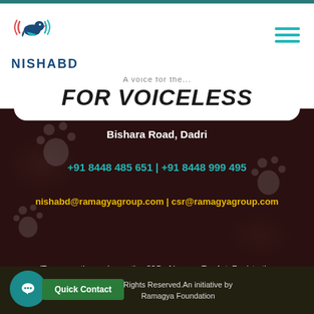[Figure (logo): Nishabd logo with bird and sound wave icon above text NISHABD]
FOR VOICELESS
Bishara Road, Dadri
+91 8448 485 651 | +91 8448 999 495
nishabd@ramagyagroup.com | csr@ramagyagroup.com
(Tax exemption under section 80G of Income Tax Act. Registration Number: DEL- PE25884 – 10032015/6086)
Rights Reserved.An initiative by Ramagya Foundation